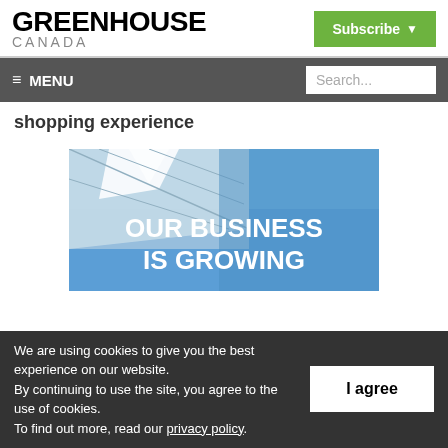GREENHOUSE CANADA | Subscribe
≡ MENU | Search...
shopping experience
[Figure (photo): Greenhouse building exterior with blue sky and text overlay: OUR BUSINESS IS GROWING]
We are using cookies to give you the best experience on our website.
By continuing to use the site, you agree to the use of cookies.
To find out more, read our privacy policy.